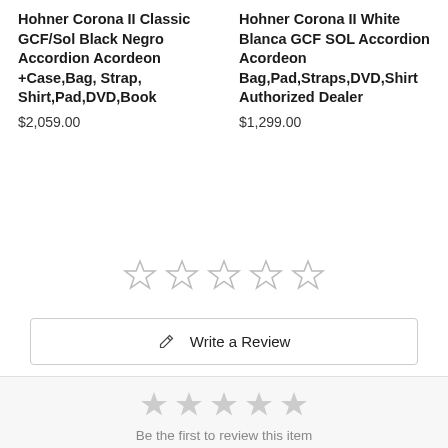Hohner Corona II Classic GCF/Sol Black Negro Accordion Acordeon +Case,Bag, Strap, Shirt,Pad,DVD,Book
$2,059.00
Hohner Corona II White Blanca GCF SOL Accordion Acordeon Bag,Pad,Straps,DVD,Shirt Authorized Dealer
$1,299.00
[Figure (other): Five empty star rating icons (outline only, grey) displayed in a row for user rating]
Write a Review
[Figure (other): Five grey filled star rating icons displayed in a row]
Be the first to review this item